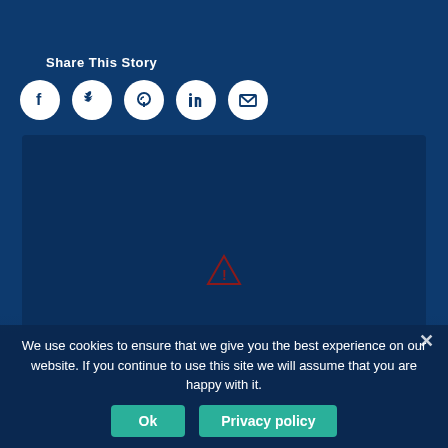Share This Story
[Figure (infographic): Row of five social media share icons (Facebook, Twitter, Pinterest, LinkedIn, Email) as white circles with dark icons inside, on a dark blue background.]
[Figure (other): Embedded content box (dark blue rectangle) with a warning/error triangle icon in dark red in the center, indicating a failed or blocked embed.]
We use cookies to ensure that we give you the best experience on our website. If you continue to use this site we will assume that you are happy with it.
Ok
Privacy policy